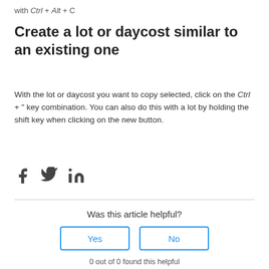with Ctrl + Alt + C
Create a lot or daycost similar to an existing one
With the lot or daycost you want to copy selected, click on the Ctrl + " key combination. You can also do this with a lot by holding the shift key when clicking on the new button.
[Figure (other): Social sharing icons: Facebook, Twitter, LinkedIn]
Was this article helpful?
Yes  No
0 out of 0 found this helpful